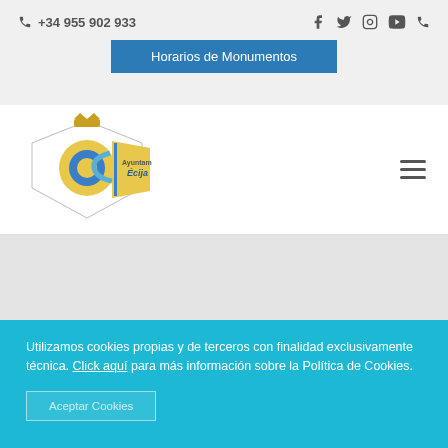+34 955 902 933
Horarios de Monumentos
[Figure (logo): Ayuntamiento de Écija official logo with coat of arms and colorful banner]
Utilizamos cookies propias y de terceros con finalidad exclusivamente técnica. Click aquí para más información sobre la Política de Cookies.
Aceptar Cookies